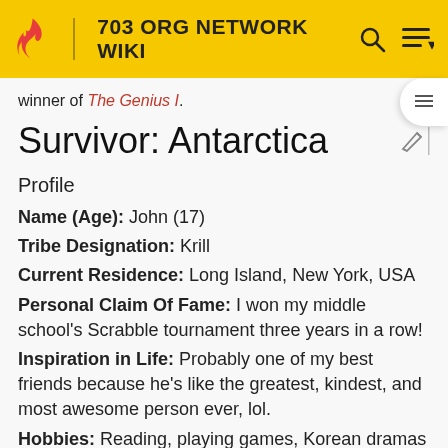703 ORG NETWORK WIKI
winner of The Genius I.
Survivor: Antarctica
Profile
Name (Age): John (17)
Tribe Designation: Krill
Current Residence: Long Island, New York, USA
Personal Claim Of Fame: I won my middle school's Scrabble tournament three years in a row!
Inspiration in Life: Probably one of my best friends because he's like the greatest, kindest, and most awesome person ever, lol.
Hobbies: Reading, playing games, Korean dramas and K-